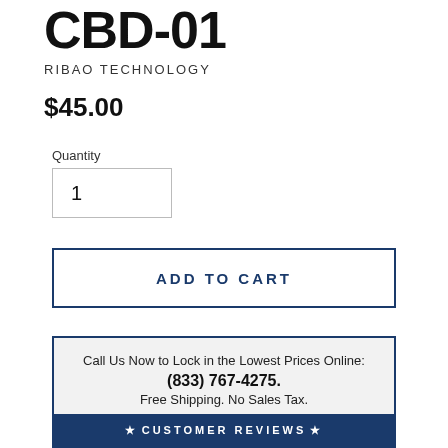CBD-01
RIBAO TECHNOLOGY
$45.00
Quantity
1
ADD TO CART
Call Us Now to Lock in the Lowest Prices Online: (833) 767-4275. Free Shipping. No Sales Tax.
★ CUSTOMER REVIEWS ★